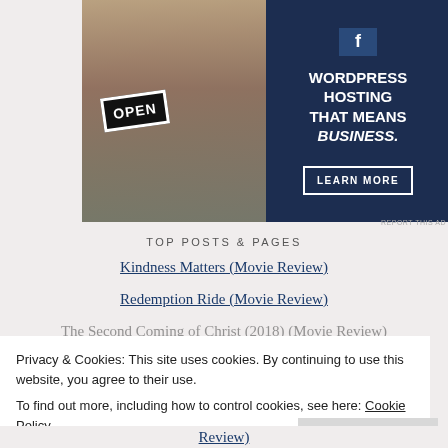[Figure (photo): Advertisement banner: left half shows a woman holding an OPEN sign (photo), right half is dark navy blue with text 'WORDPRESS HOSTING THAT MEANS BUSINESS.' and a 'LEARN MORE' button.]
TOP POSTS & PAGES
Kindness Matters (Movie Review)
Redemption Ride (Movie Review)
The Second Coming of Christ (2018) (Movie Review)
Privacy & Cookies: This site uses cookies. By continuing to use this website, you agree to their use.
To find out more, including how to control cookies, see here: Cookie Policy
Close and accept
Review)